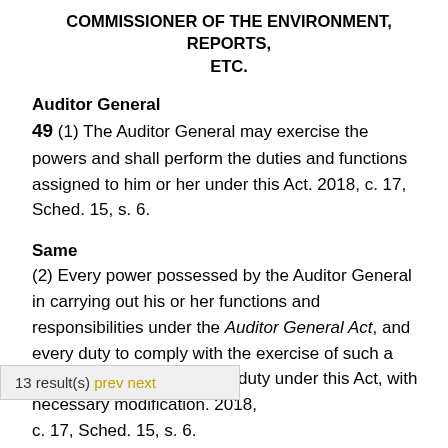COMMISSIONER OF THE ENVIRONMENT, REPORTS, ETC.
Auditor General
49 (1) The Auditor General may exercise the powers and shall perform the duties and functions assigned to him or her under this Act. 2018, c. 17, Sched. 15, s. 6.
Same
(2) Every power possessed by the Auditor General in carrying out his or her functions and responsibilities under the Auditor General Act, and every duty to comply with the exercise of such a power, is also a power and duty under this Act, with necessary modification. 2018, c. 17, Sched. 15, s. 6.